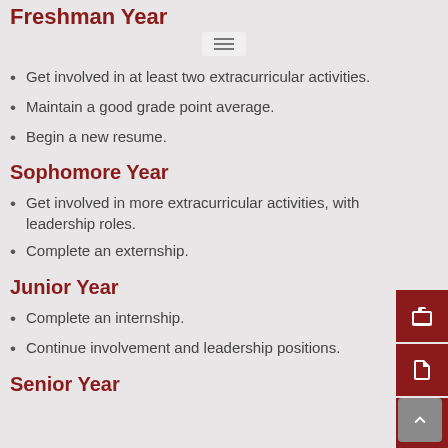Freshman Year
Get involved in at least two extracurricular activities.
Maintain a good grade point average.
Begin a new resume.
Sophomore Year
Get involved in more extracurricular activities, with leadership roles.
Complete an externship.
Junior Year
Complete an internship.
Continue involvement and leadership positions.
Senior Year